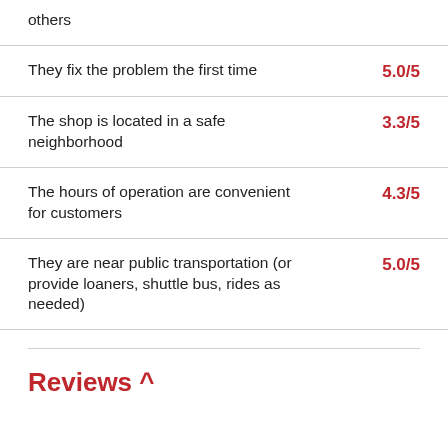others
They fix the problem the first time   5.0/5
The shop is located in a safe neighborhood   3.3/5
The hours of operation are convenient for customers   4.3/5
They are near public transportation (or provide loaners, shuttle bus, rides as needed)   5.0/5
Reviews ^